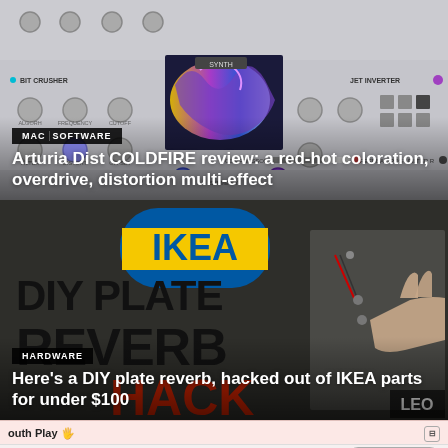[Figure (screenshot): Screenshot of Arturia Dist COLDFIRE synthesizer/effects plugin UI with knobs, a waveform/visual display in the center, bit crusher and jet inverter sections.]
MAC  SOFTWARE
Arturia Dist COLDFIRE review: a red-hot coloration, overdrive, distortion multi-effect
[Figure (photo): Photo of a DIY plate reverb build with IKEA logo visible, large text reading 'DIY PLATE REVERB HACK' overlaid, and a hand touching a metal plate with wires attached.]
HARDWARE
Here's a DIY plate reverb, hacked out of IKEA parts for under $100
[Figure (screenshot): Bottom strip showing a music software interface — 'outh Play' app with controls: Glide, Walk, Speed, Range, Offset, Direction, Voice 1, Copy to other voice]